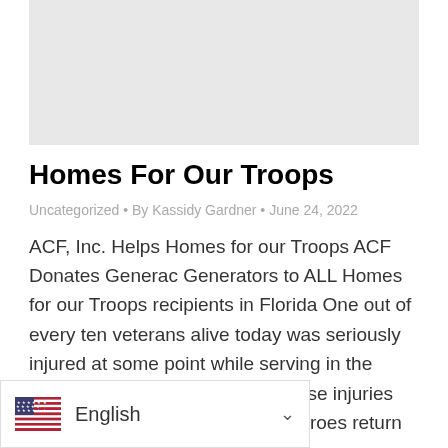[Figure (photo): Gray placeholder image area at top of page]
Homes For Our Troops
Uncategorized • By Kassidy Gardner • June 24, 2022
ACF, Inc. Helps Homes for our Troops ACF Donates Generac Generators to ALL Homes for our Troops recipients in Florida One out of every ten veterans alive today was seriously injured at some point while serving in the military, and three-quarters of those injuries occurred in combat. When our heroes return
[Figure (illustration): Language selector bar showing US flag and English with dropdown chevron]